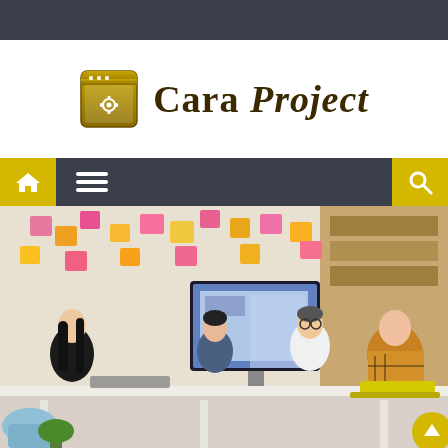[Figure (logo): Cara Project logo with a golden browser/window icon featuring a gear, and bold serif text 'Cara Project']
[Figure (screenshot): Website navigation bar with dark background, yellow home icon button on left, hamburger menu icon, and yellow search/magnify icon on right]
[Figure (photo): A team of people seated around a white table in a modern office, working on laptops. A wall covered with colorful sticky notes is in the background, along with a monitor displaying a desktop. A yellow laptop is visible on the right.]